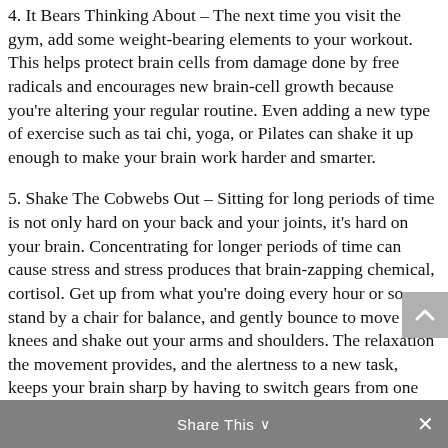4. It Bears Thinking About – The next time you visit the gym, add some weight-bearing elements to your workout. This helps protect brain cells from damage done by free radicals and encourages new brain-cell growth because you're altering your regular routine. Even adding a new type of exercise such as tai chi, yoga, or Pilates can shake it up enough to make your brain work harder and smarter.
5. Shake The Cobwebs Out – Sitting for long periods of time is not only hard on your back and your joints, it's hard on your brain. Concentrating for longer periods of time can cause stress and stress produces that brain-zapping chemical, cortisol. Get up from what you're doing every hour or so, stand by a chair for balance, and gently bounce to move your knees and shake out your arms and shoulders. The relaxation the movement provides, and the alertness to a new task, keeps your brain sharp by having to switch gears from one activity to another.
Share This